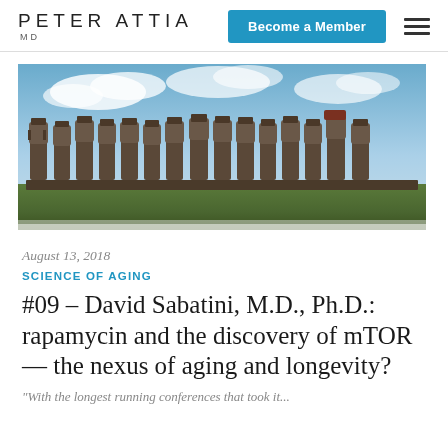PETER ATTIA MD
[Figure (photo): A row of Easter Island moai statues (Ahu Tongariki) against a blue sky with clouds and green grass in the foreground]
August 13, 2018
SCIENCE OF AGING
#09 – David Sabatini, M.D., Ph.D.: rapamycin and the discovery of mTOR — the nexus of aging and longevity?
"With the longest running conferences that took it...